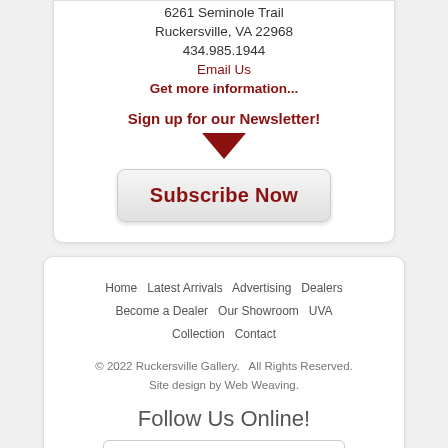6261 Seminole Trail
Ruckersville, VA 22968
434.985.1944
Email Us
Get more information...
Sign up for our Newsletter!
Subscribe Now
Home    Latest Arrivals    Advertising    Dealers    Become a Dealer    Our Showroom    UVA Collection    Contact
© 2022 Ruckersville Gallery.   All Rights Reserved. Site design by Web Weaving.
Follow Us Online!